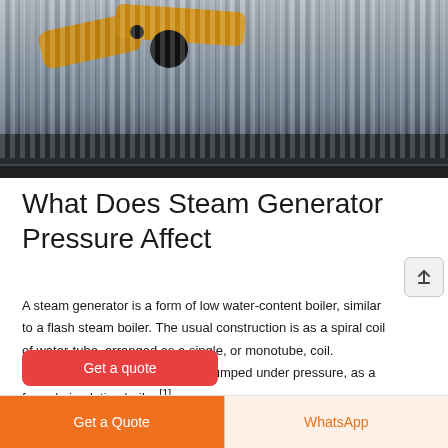[Figure (photo): Industrial steam generator equipment photo showing yellow/orange pipes and black fittings against corrugated metal wall background with dark steel base structure]
What Does Steam Generator Pressure Affect
A steam generator is a form of low water-content boiler, similar to a flash steam boiler. The usual construction is as a spiral coil of water-tube, arranged as a single, or monotube, coil. Circulation is once-through and pumped under pressure, as a forced-circulation boiler.[1]
Get a quote
Get a Quote
WhatsApp